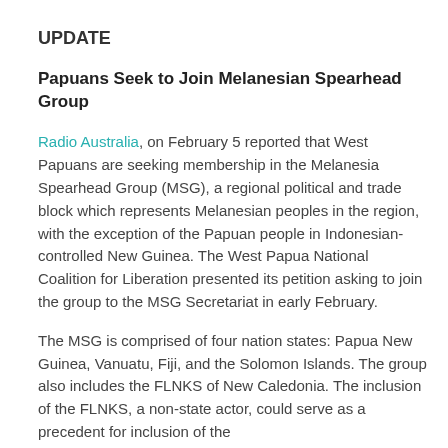UPDATE
Papuans Seek to Join Melanesian Spearhead Group
Radio Australia, on February 5 reported that West Papuans are seeking membership in the Melanesia Spearhead Group (MSG), a regional political and trade block which represents Melanesian peoples in the region, with the exception of the Papuan people in Indonesian-controlled New Guinea. The West Papua National Coalition for Liberation presented its petition asking to join the group to the MSG Secretariat in early February.
The MSG is comprised of four nation states: Papua New Guinea, Vanuatu, Fiji, and the Solomon Islands. The group also includes the FLNKS of New Caledonia. The inclusion of the FLNKS, a non-state actor, could serve as a precedent for inclusion of the